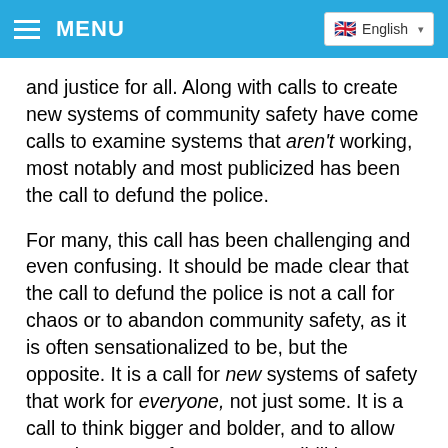MENU  English
and justice for all. Along with calls to create new systems of community safety have come calls to examine systems that aren't working, most notably and most publicized has been the call to defund the police.
For many, this call has been challenging and even confusing. It should be made clear that the call to defund the police is not a call for chaos or to abandon community safety, as it is often sensationalized to be, but the opposite. It is a call for new systems of safety that work for everyone, not just some. It is a call to think bigger and bolder, and to allow ourselves to confront  new possibilities we hadn't considered before and examine tensions within ourselves. For many, this call has been scary, but for others this call